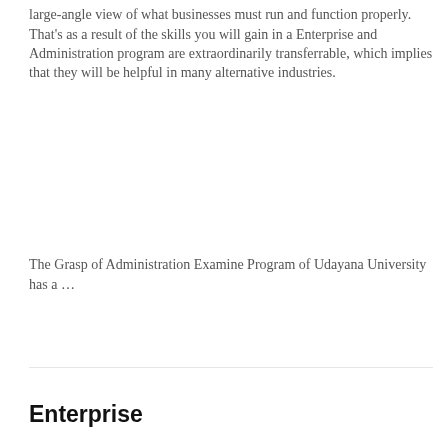large-angle view of what businesses must run and function properly. That's as a result of the skills you will gain in a Enterprise and Administration program are extraordinarily transferrable, which implies that they will be helpful in many alternative industries.
The Grasp of Administration Examine Program of Udayana University has a …
Enterprise